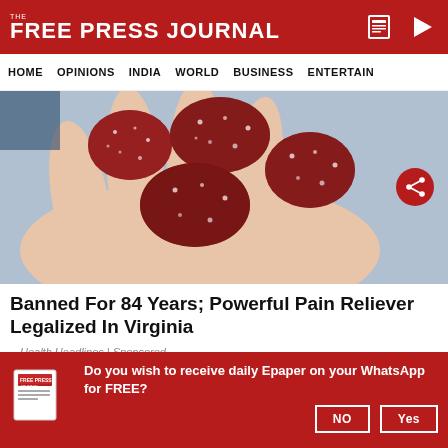THE FREE PRESS JOURNAL
HOME  OPINIONS  INDIA  WORLD  BUSINESS  ENTERTAIN
[Figure (photo): Close-up photo of a hand holding several sugar-coated red gummy candies]
Banned For 84 Years; Powerful Pain Reliever Legalized In Virginia
Health Headlines | Sponsored
Do you wish to receive daily Epaper on your WhatsApp for FREE?